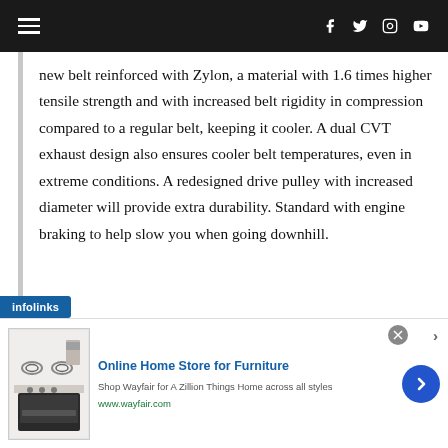Navigation bar with hamburger menu and social icons (Facebook, Twitter, Instagram, YouTube)
new belt reinforced with Zylon, a material with 1.6 times higher tensile strength and with increased belt rigidity in compression compared to a regular belt, keeping it cooler. A dual CVT exhaust design also ensures cooler belt temperatures, even in extreme conditions. A redesigned drive pulley with increased diameter will provide extra durability. Standard with engine braking to help slow you when going downhill.
[Figure (screenshot): Infolinks advertisement badge and Wayfair ad banner showing 'Online Home Store for Furniture' with product image, description text, and navigation arrow]